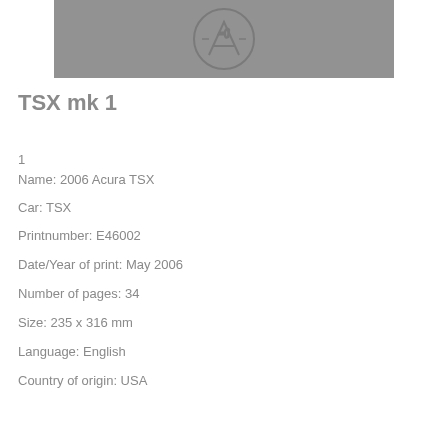[Figure (logo): Gray rectangular background with an embossed or watermarked Acura logo (stylized A in a circle) centered on it]
TSX mk 1
1
Name: 2006 Acura TSX
Car: TSX
Printnumber: E46002
Date/Year of print: May 2006
Number of pages: 34
Size: 235 x 316 mm
Language: English
Country of origin: USA